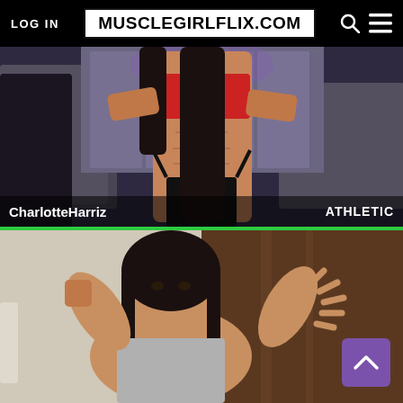LOG IN  MUSCLEGIRLFLIX.COM
[Figure (screenshot): Fitness model CharlotteHarriz posing in red bra and black bikini bottom in a bedroom setting]
CharlotteHarriz   ATHLETIC
[Figure (screenshot): Athletic woman flexing biceps toward camera, split frame showing two poses]